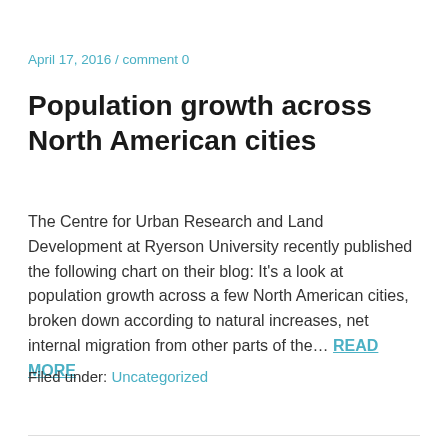April 17, 2016 / comment 0
Population growth across North American cities
The Centre for Urban Research and Land Development at Ryerson University recently published the following chart on their blog: It’s a look at population growth across a few North American cities, broken down according to natural increases, net internal migration from other parts of the… READ MORE
Filed under: Uncategorized